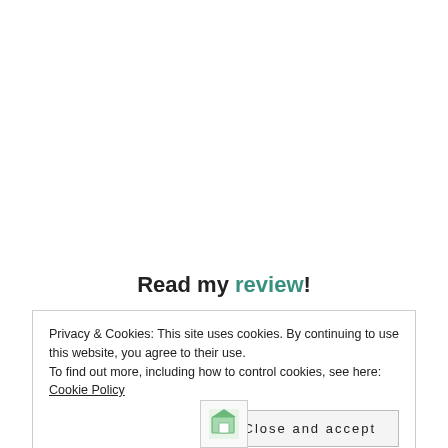Read my review!
Privacy & Cookies: This site uses cookies. By continuing to use this website, you agree to their use.
To find out more, including how to control cookies, see here: Cookie Policy
Close and accept